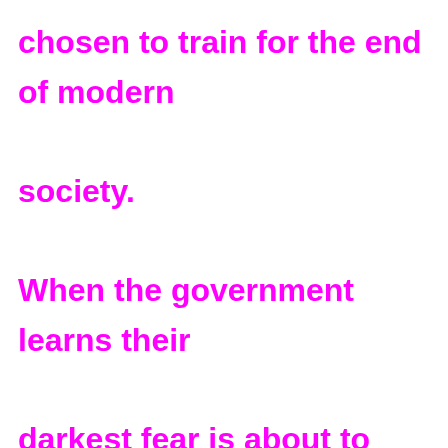chosen to train for the end of modern society.

When the government learns their darkest fear is about to become a reality, Gabe can't warn anyone of the impending disaster—but he can stock his shelves and do everything in his